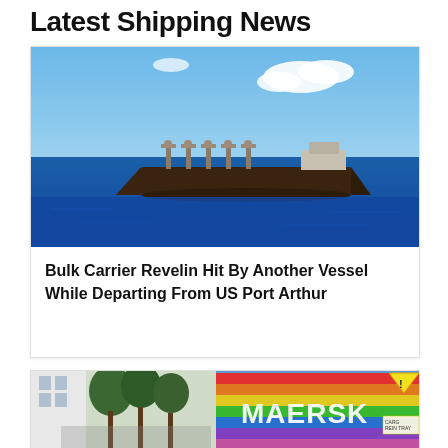Latest Shipping News
[Figure (photo): A bulk carrier ship at sea under a partly cloudy blue sky on calm dark blue ocean water.]
Bulk Carrier Revelin Hit By Another Vessel While Departing From US Port Arthur
[Figure (photo): A Maersk shipping container decorated with rainbow colors at what appears to be an outdoor urban event with trees and people in the background.]